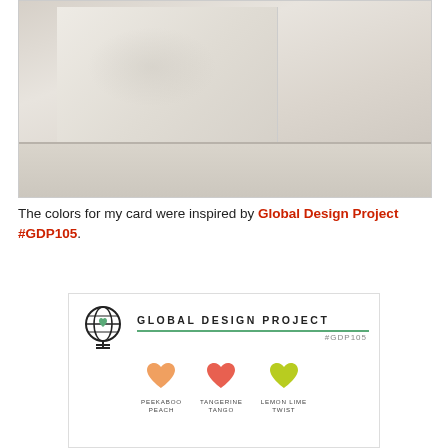[Figure (photo): Close-up photo of a cream/white embossed card with wood grain texture, standing upright on a white wooden surface]
The colors for my card were inspired by Global Design Project #GDP105.
[Figure (logo): Global Design Project #GDP105 challenge card showing a globe logo with green heart, title text, and three color hearts labeled Peekaboo Peach, Tangerine Tango, and Lemon Lime Twist]